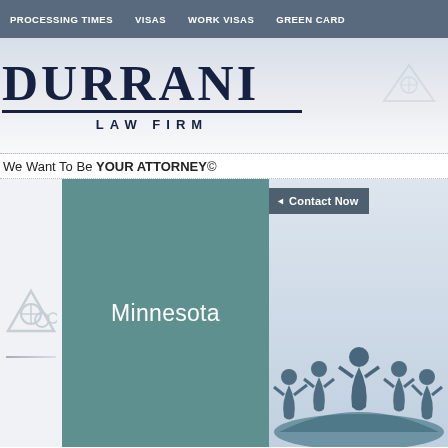PROCESSING TIMES   VISAS   WORK VISAS   GREEN CARD
[Figure (logo): Durrani Law Firm logo — large bold serif DURRANI with underline and LAW FIRM subtitle in spaced capitals]
We Want To Be YOUR ATTORNEY©
[Figure (screenshot): Minnesota teal/slate colored box with white text 'Minnesota' on left; Contact Now button top right; people holding hands illustration on right panel]
Home > Minnesota
Minnesota
DURRANI LAW FIRM – Immigration Attorn…